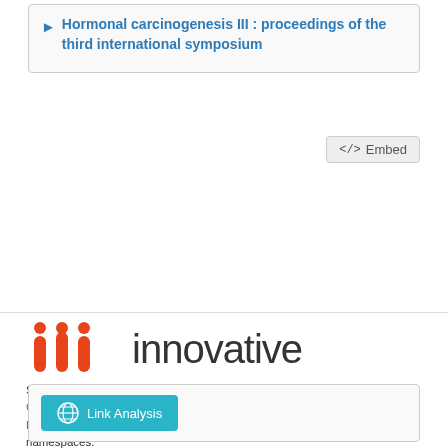Hormonal carcinogenesis III : proceedings of the third international symposium
[Figure (screenshot): Embed button with code icon (</>)]
[Figure (logo): Innovative Interfaces logo - three orange pillars with 'innovative' text]
Structured data from the Bibframe namespace is licensed under the Creative Commons Attribution 4.0 International License by University of Missouri Libraries. Additional terms may apply to data associated with third party namespaces.
[Figure (screenshot): Link Analysis button with globe-like icon]